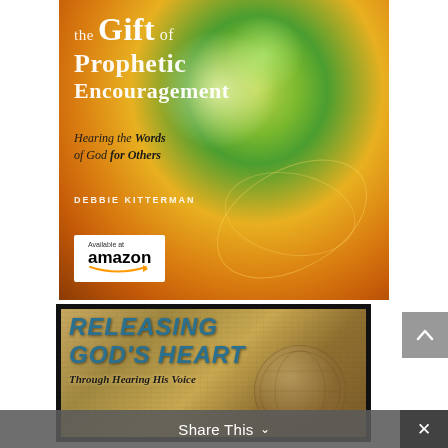[Figure (illustration): Book cover for 'the Gift of Prophetic Encouragement' by Debbie Kitterman, with colorful bokeh background in greens and golds, subtitle 'Hearing the Words of God for Others', and an Amazon availability badge]
[Figure (illustration): Book cover for 'Releasing God's Heart Through Hearing His Voice' with parchment/aged texture background and teal bold title text, showing a globe/world image]
Share This